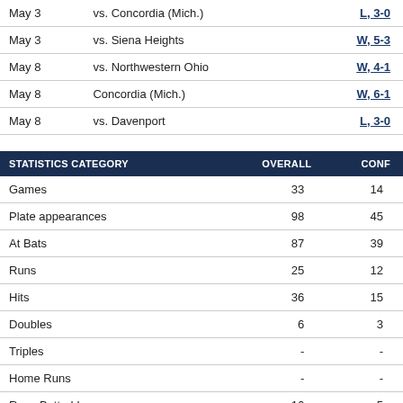| Date | Opponent | Result |
| --- | --- | --- |
| May 3 | vs. Concordia (Mich.) | L, 3-0 |
| May 3 | vs. Siena Heights | W, 5-3 |
| May 8 | vs. Northwestern Ohio | W, 4-1 |
| May 8 | Concordia (Mich.) | W, 6-1 |
| May 8 | vs. Davenport | L, 3-0 |
| STATISTICS CATEGORY | OVERALL | CONF |
| --- | --- | --- |
| Games | 33 | 14 |
| Plate appearances | 98 | 45 |
| At Bats | 87 | 39 |
| Runs | 25 | 12 |
| Hits | 36 | 15 |
| Doubles | 6 | 3 |
| Triples | - | - |
| Home Runs | - | - |
| Runs Batted In | 16 | 5 |
| Total bases | 42 | 18 |
| Walks | 7 | 5 |